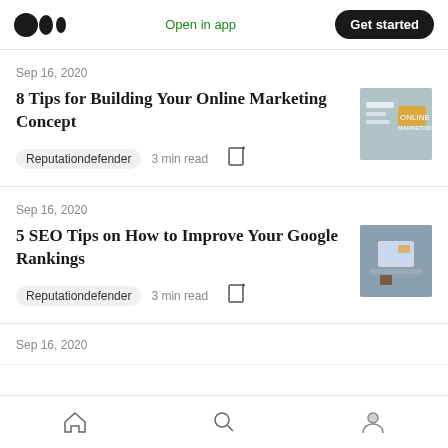Open in app  Get started
Sep 16, 2020
8 Tips for Building Your Online Marketing Concept
Reputationdefender  3 min read
Sep 16, 2020
5 SEO Tips on How to Improve Your Google Rankings
Reputationdefender  3 min read
Sep 16, 2020